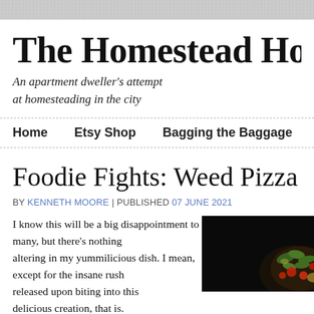The Homestead Hobb
An apartment dweller's attempt at homesteading in the city
Home   Etsy Shop   Bagging the Baggage
Foodie Fights: Weed Pizza
BY KENNETH MOORE | PUBLISHED 07 JUNE 2021
I know this will be a big disappointment to many, but there's nothing mind-altering in my yummilicious dish. I mean, except for the insane rush of joy released upon biting into this delicious creation, that is.
[Figure (photo): Dark background photo showing what appears to be a pizza with green vegetables/herbs and colorful toppings]